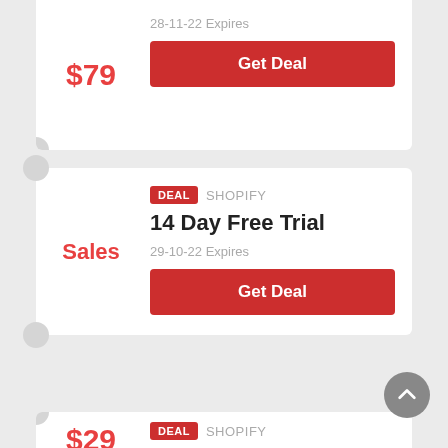$79
28-11-22 Expires
Get Deal
DEAL  SHOPIFY
14 Day Free Trial
Sales
29-10-22 Expires
Get Deal
DEAL  SHOPIFY
Unlimited Bandwidth Starting At $29 /Month
$29
28-11-22 Expires